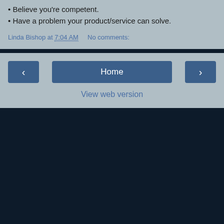Believe you're competent.
Have a problem your product/service can solve.
Linda Bishop at 7:04 AM    No comments:
Home
View web version